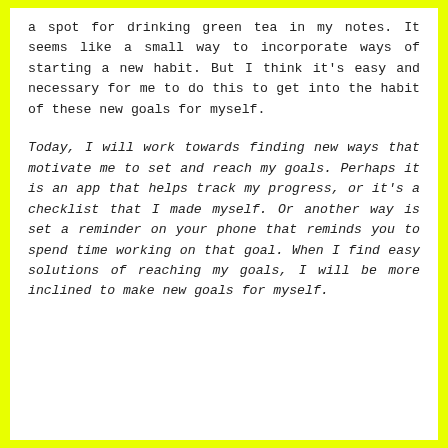a spot for drinking green tea in my notes. It seems like a small way to incorporate ways of starting a new habit. But I think it's easy and necessary for me to do this to get into the habit of these new goals for myself.
Today, I will work towards finding new ways that motivate me to set and reach my goals. Perhaps it is an app that helps track my progress, or it's a checklist that I made myself. Or another way is set a reminder on your phone that reminds you to spend time working on that goal. When I find easy solutions of reaching my goals, I will be more inclined to make new goals for myself.